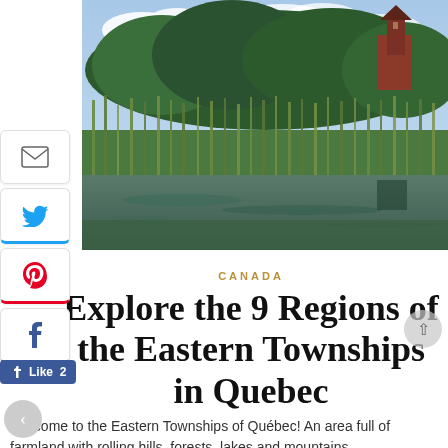[Figure (photo): Pastoral wetland scene with tall green reeds and grasses in foreground, calm reflective water in middle ground, and a red-brick church tower visible through lush trees in the background under a partly cloudy sky.]
CANADA
Explore the 9 Regions of the Eastern Townships in Quebec
Welcome to the Eastern Townships of Québec! An area full of farmland with rolling hills, forests, lakes and mountains